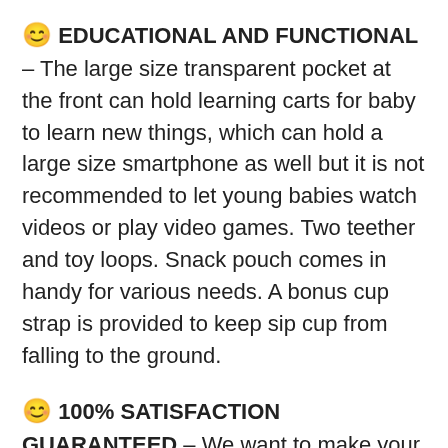😊 EDUCATIONAL AND FUNCTIONAL – The large size transparent pocket at the front can hold learning carts for baby to learn new things, which can hold a large size smartphone as well but it is not recommended to let young babies watch videos or play video games. Two teether and toy loops. Snack pouch comes in handy for various needs. A bonus cup strap is provided to keep sip cup from falling to the ground.
😊 100% SATISFACTION GUARANTEED – We want to make your purchase risk free. Try it for 30 days, if you are not satisfied, we will give you a full refund, no questions asked. So order yours now as you have nothing to lose!